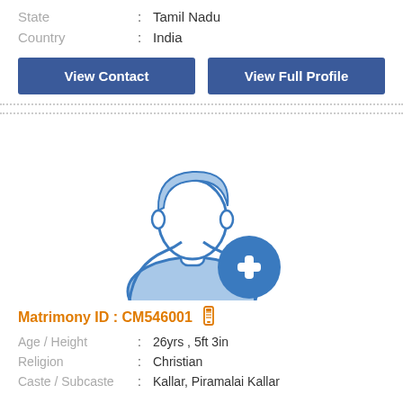State : Tamil Nadu
Country : India
View Contact
View Full Profile
[Figure (illustration): Generic male avatar silhouette in blue with a blue circle plus button in the lower right corner]
Matrimony ID : CM546001
Age / Height : 26yrs , 5ft 3in
Religion : Christian
Caste / Subcaste : Kallar, Piramalai Kallar